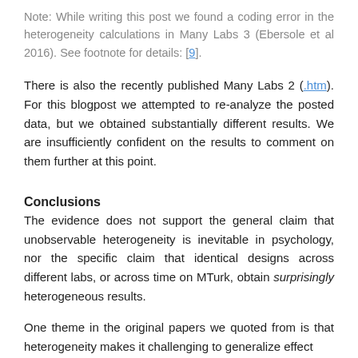Note: While writing this post we found a coding error in the heterogeneity calculations in Many Labs 3 (Ebersole et al 2016). See footnote for details: [9].
There is also the recently published Many Labs 2 (.htm). For this blogpost we attempted to re-analyze the posted data, but we obtained substantially different results. We are insufficiently confident on the results to comment on them further at this point.
Conclusions
The evidence does not support the general claim that unobservable heterogeneity is inevitable in psychology, nor the specific claim that identical designs across different labs, or across time on MTurk, obtain surprisingly heterogeneous results.
One theme in the original papers we quoted from is that heterogeneity makes it challenging to generalize effect